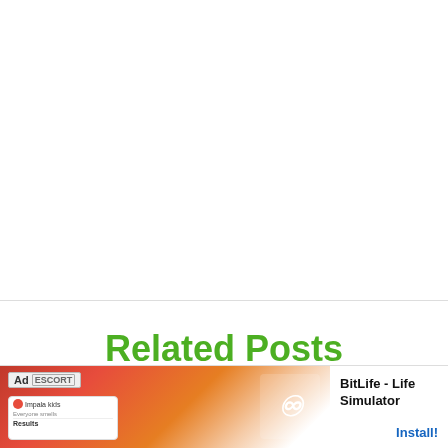Related Posts
[Figure (photo): Partially visible photo strip showing an outdoor/nature scene in green tones, at the bottom of the page]
[Figure (screenshot): Ad banner at bottom showing BitLife - Life Simulator app advertisement with red/orange illustrated background and Install button]